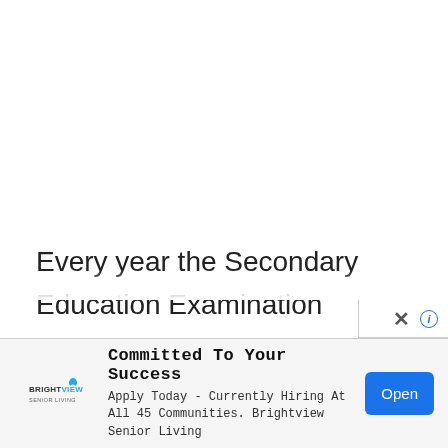Every year the Secondary Education Examination Board, Karnataka organize 11th annul examination in the month of March/April. It is expected this year also the KSEEB Board conducts +1 main examination in the same month. All appearing students in the upcoming exam, they all students first
[Figure (other): Advertisement banner for Brightview Senior Living. Headline: 'Committed To Your Success'. Body: 'Apply Today - Currently Hiring At All 45 Communities. Brightview Senior Living'. Has a logo and an 'Open' button.]